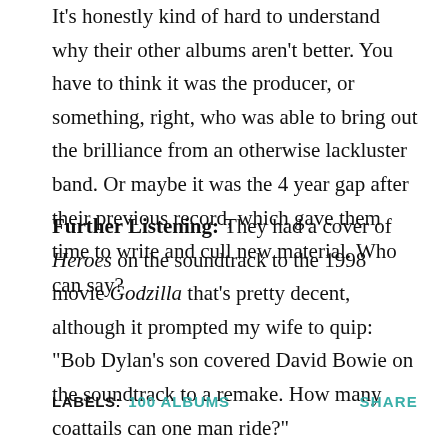It's honestly kind of hard to understand why their other albums aren't better. You have to think it was the producer, or something, right, who was able to bring out the brilliance from an otherwise lackluster band. Or maybe it was the 4 year gap after their previous record, which gave them time to write and cull new material. Who can say?
Further Listening: They had a cover of Heroes on the soundtrack to the 1998 movie Godzilla that's pretty decent, although it prompted my wife to quip: "Bob Dylan's son covered David Bowie on the soundtrack to a remake. How many coattails can one man ride?"
LABELS: 100 ALBUMS   SHARE